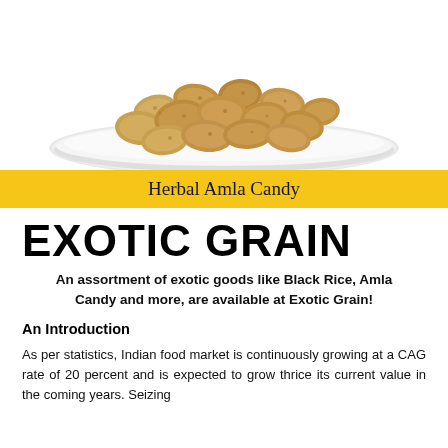[Figure (photo): A white square plate/bowl containing light brown dried herbal amla candy pieces on a white background]
Herbal Amla Candy
EXOTIC GRAIN
An assortment of exotic goods like Black Rice, Amla Candy and more, are available at Exotic Grain!
An Introduction
As per statistics, Indian food market is continuously growing at a CAG rate of 20 percent and is expected to grow thrice its current value in the coming years. Seizing